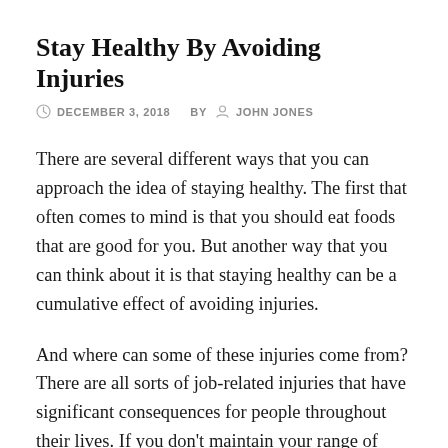Stay Healthy By Avoiding Injuries
DECEMBER 3, 2018   BY   JOHN JONES
There are several different ways that you can approach the idea of staying healthy. The first that often comes to mind is that you should eat foods that are good for you. But another way that you can think about it is that staying healthy can be a cumulative effect of avoiding injuries.
And where can some of these injuries come from? There are all sorts of job-related injuries that have significant consequences for people throughout their lives. If you don't maintain your range of motion by regularly stretching, that can cause